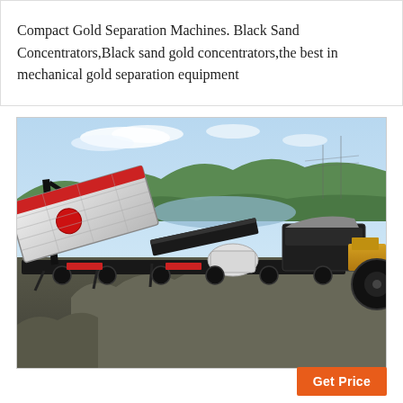Compact Gold Separation Machines. Black Sand Concentrators,Black sand gold concentrators,the best in mechanical gold separation equipment
[Figure (photo): Outdoor photograph of a large compact gold separation machine / mobile crushing and screening plant on a flatbed trailer, with conveyor belts, screens, and hoppers visible. Background shows trees, hills, water, and sky. Rocks and rubble are piled in the foreground. A yellow vehicle is visible on the right side.]
Get Price